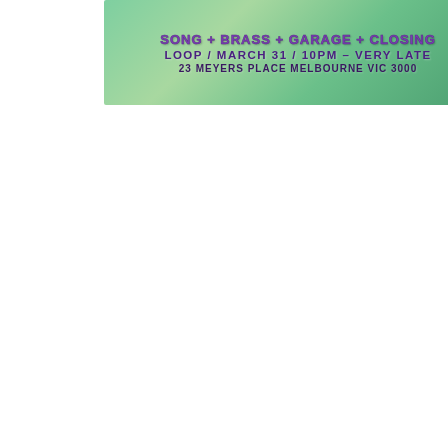[Figure (other): Event flyer banner showing 'LOOP / MARCH 31 / 10PM - VERY LATE' and '23 MEYERS PLACE MELBOURNE VIC 3000' on a green background]
Add to calendar
Related Events
[Figure (photo): Promotional image for an event called 'BRUH' showing a person's face with green moss/foliage overlay and a soundwave/tree logo]